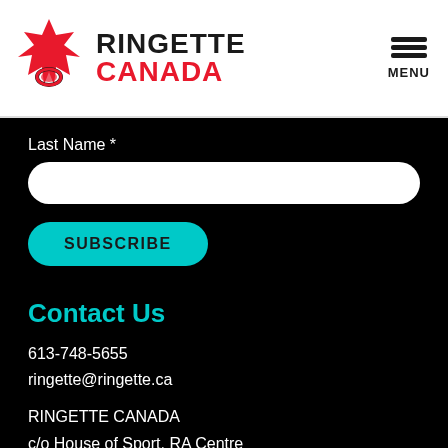[Figure (logo): Ringette Canada logo: red maple leaf with ring, beside bold text RINGETTE in black and CANADA in red]
MENU
Last Name *
SUBSCRIBE
Contact Us
613-748-5655
ringette@ringette.ca
RINGETTE CANADA
c/o House of Sport, RA Centre
2451 Riverside Drive
Ottawa, ON K1H 7X7
[Figure (infographic): Row of social media icons: Facebook, Twitter, YouTube, and others]